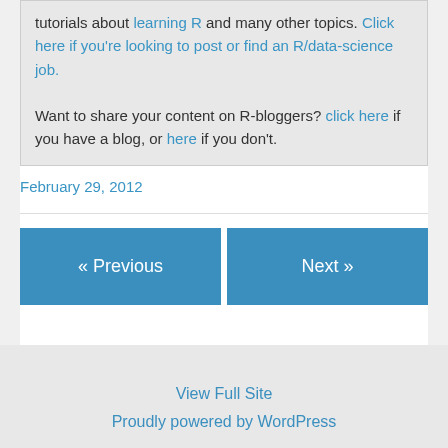tutorials about learning R and many other topics. Click here if you're looking to post or find an R/data-science job.
Want to share your content on R-bloggers? click here if you have a blog, or here if you don't.
February 29, 2012
« Previous
Next »
View Full Site
Proudly powered by WordPress